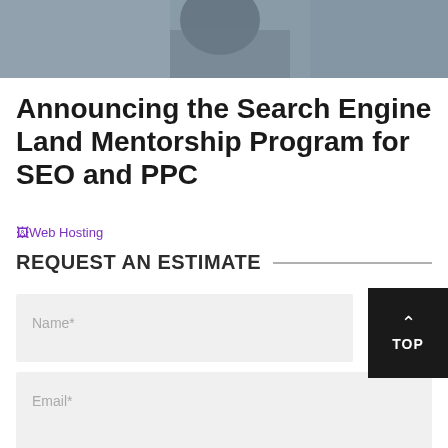[Figure (photo): Cropped photo of a person, partially visible, dark background, upper portion of page]
Announcing the Search Engine Land Mentorship Program for SEO and PPC
[Figure (other): Broken image placeholder link labeled 'Web Hosting' in purple text]
REQUEST AN ESTIMATE
Name*
Email*